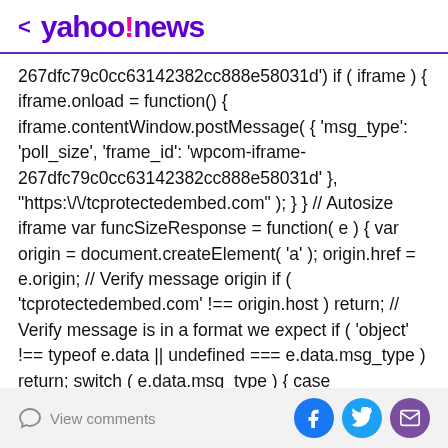< yahoo!news
267dfc79c0cc63142382cc888e58031d') if ( iframe ) { iframe.onload = function() { iframe.contentWindow.postMessage( { 'msg_type': 'poll_size', 'frame_id': 'wpcom-iframe-267dfc79c0cc63142382cc888e58031d' }, "https:\/\/tcprotectedembed.com" ); } } // Autosize iframe var funcSizeResponse = function( e ) { var origin = document.createElement( 'a' ); origin.href = e.origin; // Verify message origin if ( 'tcprotectedembed.com' !== origin.host ) return; // Verify message is in a format we expect if ( 'object' !== typeof e.data || undefined === e.data.msg_type ) return; switch ( e.data.msg_type ) { case 'poll_size:response': var iframe =
View comments